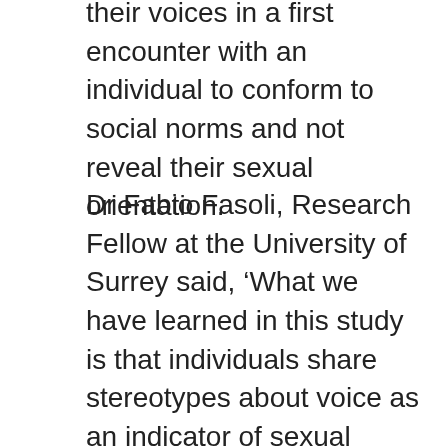their voices in a first encounter with an individual to conform to social norms and not reveal their sexual orientation.
Dr Fabio Fasoli, Research Fellow at the University of Surrey said, ‘What we have learned in this study is that individuals share stereotypes about voice as an indicator of sexual orientation. Fears of discrimination and being subject to unwanted stereotyping may lead people to alter their voice, in particular men trying to sound more masculine to conform to social norms.
‘It is disappointing that in 2018 stereotypes about masculinity and femininity persists and fears of being misidentified as gay and lesbian still exists. This may explain why a person feels the need to